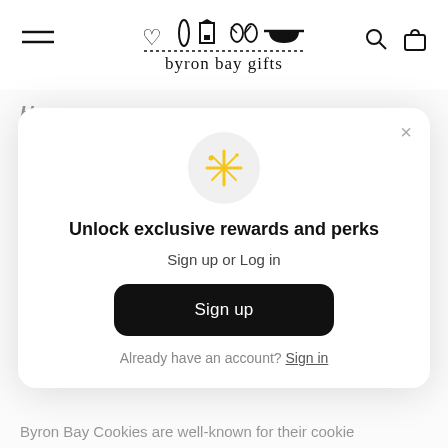[Figure (logo): Byron Bay Gifts logo with icons of heart, surfboard, lighthouse, flip-flops, and mortar/pestle above dotted line and text 'byron bay gifts']
Hamper:
A top quality chocolate gift box that is highly rated by
[Figure (screenshot): Modal popup with sparkle emoji icon, heading 'Unlock exclusive rewards and perks', subtext 'Sign up or Log in', a black 'Sign up' button, and 'Already have an account? Sign in' link]
Byron Bay Cookies are well-known for their cookie